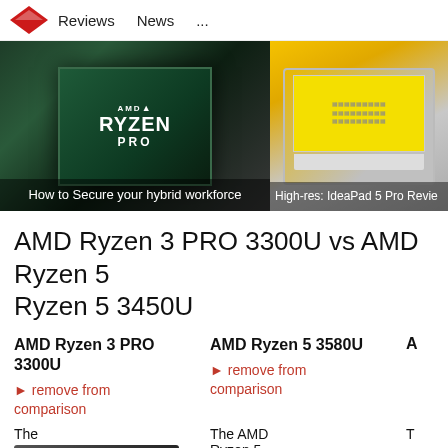Reviews   News   ...
[Figure (photo): AMD Ryzen PRO chip close-up with caption 'How to Secure your hybrid workforce']
How to Secure your hybrid workforce
[Figure (photo): Laptop with yellow screen showing 'High-res: IdeaPad 5 Pro Revie']
High-res: IdeaPad 5 Pro Revie
AMD Ryzen 3 PRO 3300U vs AMD Ryzen 5 3580U AMD Ryzen 5 3450U
AMD Ryzen 3 PRO 3300U
AMD Ryzen 5 3580U
A
▶ remove from comparison
▶ remove from comparison
The
The AMD Ryzen 5
T